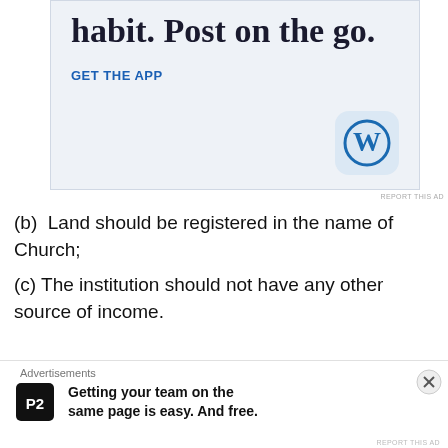[Figure (screenshot): WordPress app advertisement showing partial headline 'habit. Post on the go.' with 'GET THE APP' link and WordPress 'W' logo on light blue background]
REPORT THIS AD
(b)  Land should be registered in the name of Church;
(c) The institution should not have any other source of income.
This is in addition to the existing conditions of the Christian
[Figure (screenshot): Bottom advertisement bar: 'Advertisements' label, P2 logo, bold text 'Getting your team on the same page is easy. And free.' with close (X) button]
REPORT THIS AD